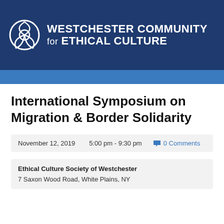[Figure (logo): Westchester Community for Ethical Culture logo with circular emblem and text]
International Symposium on Migration & Border Solidarity
November 12, 2019   5:00 pm - 9:30 pm   0 Comments
Ethical Culture Society of Westchester
7 Saxon Wood Road, White Plains, NY